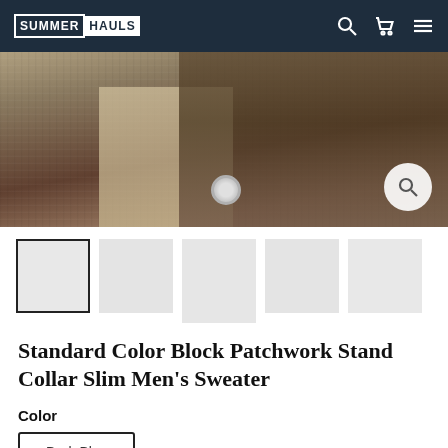SUMMERHAULS
[Figure (photo): Product photo showing a man wearing a brown/dark patchwork knit sweater with khaki trousers and a blue-strapped watch]
[Figure (photo): Thumbnail gallery row with 5 product image thumbnails, first one selected with dark border]
Standard Color Block Patchwork Stand Collar Slim Men's Sweater
Color
Dark Blue